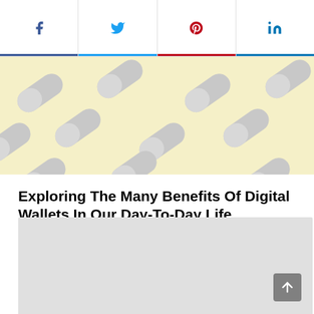[Figure (screenshot): Social sharing bar with Facebook, Twitter, Pinterest, and LinkedIn icons, each with their brand colors and underline accents]
[Figure (illustration): Hero image showing a pattern of gray pill capsules on a yellow background]
Exploring The Many Benefits Of Digital Wallets In Our Day-To-Day Life
[Figure (other): Gray placeholder rectangle, likely an advertisement or embedded content area]
[Figure (other): Gray scroll-to-top button with upward arrow in bottom right corner]